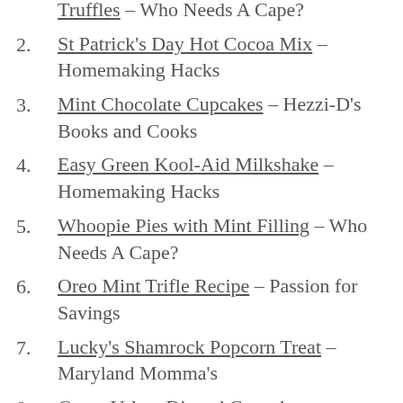Truffles – Who Needs A Cape?
St Patrick's Day Hot Cocoa Mix – Homemaking Hacks
Mint Chocolate Cupcakes – Hezzi-D's Books and Cooks
Easy Green Kool-Aid Milkshake – Homemaking Hacks
Whoopie Pies with Mint Filling – Who Needs A Cape?
Oreo Mint Trifle Recipe – Passion for Savings
Lucky's Shamrock Popcorn Treat – Maryland Momma's
Green Velvet Dipped Cupcakes –